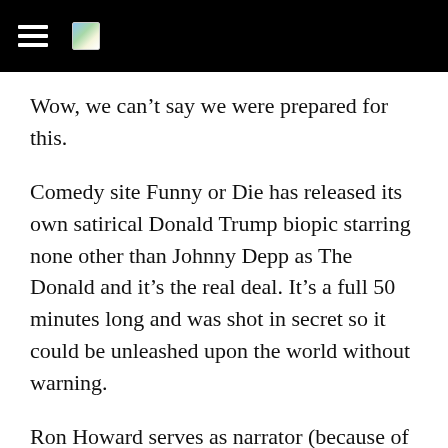Wow, we can’t say we were prepared for this.
Comedy site Funny or Die has released its own satirical Donald Trump biopic starring none other than Johnny Depp as The Donald and it’s the real deal. It’s a full 50 minutes long and was shot in secret so it could be unleashed upon the world without warning.
Ron Howard serves as narrator (because of course he does) and the film also stars Patton Oswalt, Alfred Molina, Henry Winkler, Michaela Watkins, Stephen Merchant, Christopher Lloyd, Kristen Schaal, Andy